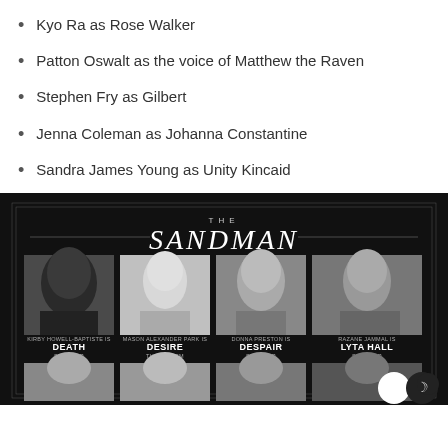Kyo Ra as Rose Walker
Patton Oswalt as the voice of Matthew the Raven
Stephen Fry as Gilbert
Jenna Coleman as Johanna Constantine
Sandra James Young as Unity Kincaid
[Figure (photo): The Sandman cast promotional image on dark background showing cast members: Kirby Howell-Baptiste as Death (She/Her), Mason Alexander Park as Desire (They/Them), Donna Preston as Despair (She/Her), Razane Jammal as Lyta Hall (She/Her), and a second row of four more cast members partially visible.]